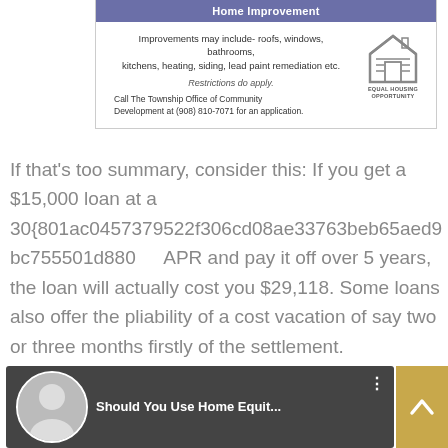Home Improvement
Improvements may include- roofs, windows, bathrooms, kitchens, heating, siding, lead paint remediation etc.
Restrictions do apply.
Call The Township Office of Community Development at (908) 810-7071 for an application.
[Figure (logo): Equal Housing Opportunity logo with house icon]
If that's too summary, consider this: If you get a $15,000 loan at a 30{801ac0457379522f306cd08ae33763beb65aed9bc755501d880... APR and pay it off over 5 years, the loan will actually cost you $29,118. Some loans also offer the pliability of a cost vacation of say two or three months firstly of the settlement.
[Figure (screenshot): YouTube video thumbnail: Should You Use Home Equit... with a woman's photo and scroll-up button]